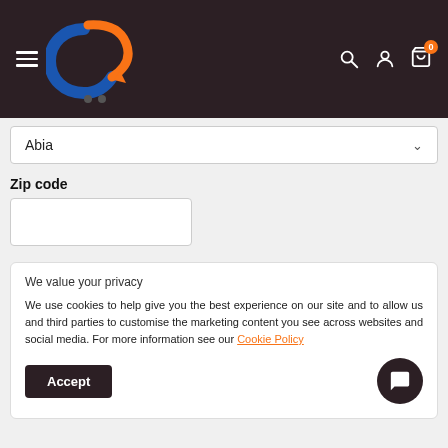[Figure (logo): E-commerce website header with hamburger menu, blue and orange circular logo, and icons for search, user account, and shopping cart with badge showing 0]
Abia
Zip code
We value your privacy
We use cookies to help give you the best experience on our site and to allow us and third parties to customise the marketing content you see across websites and social media. For more information see our Cookie Policy
Accept